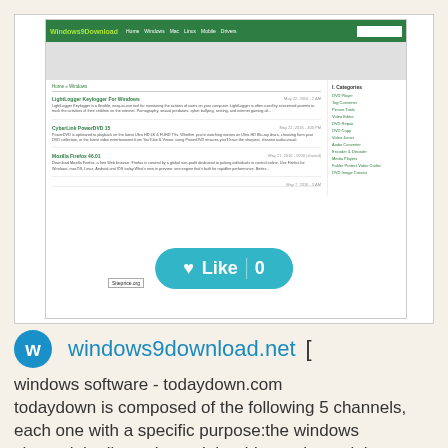[Figure (screenshot): Screenshot of windows9download.net website showing navigation bar, article listings including LightLogger Keylogger for Windows, PowerDVD, and Mozilla Firefox, with a sidebar showing categories like DVD Player, Tag Converter, Picture Tools, etc.]
[Figure (other): Teal/cyan Like button with heart icon and count of 0]
windows9download.net
Scroll Top
windows software - todaydown.com todaydown is composed of the following 5 channels, each one with a specific purpose:the windows channel,the linux channel,the drivers channel,the mobiel channel.over 10,000 software free download.